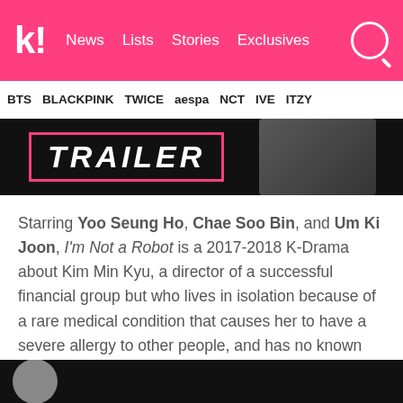k! News  Lists  Stories  Exclusives
BTS  BLACKPINK  TWICE  aespa  NCT  IVE  ITZY
[Figure (screenshot): Trailer thumbnail with 'TRAILER' text in white italic on black background with pink border rectangle, person visible on right]
Starring Yoo Seung Ho, Chae Soo Bin, and Um Ki Joon, I'm Not a Robot is a 2017-2018 K-Drama about Kim Min Kyu, a director of a successful financial group but who lives in isolation because of a rare medical condition that causes her to have a severe allergy to other people, and has no known cure.
10. True Beauty
[Figure (screenshot): Bottom strip showing beginning of another video thumbnail on dark background with partial circular profile image]